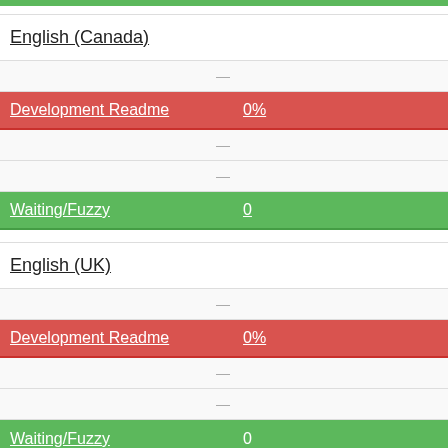| Component | Value |
| --- | --- |
| English (Canada) |  |
| — |  |
| Development Readme | 0% |
| — |  |
| — |  |
| Waiting/Fuzzy | 0 |
| English (UK) |  |
| — |  |
| Development Readme | 0% |
| — |  |
| — |  |
| Waiting/Fuzzy | 0 |